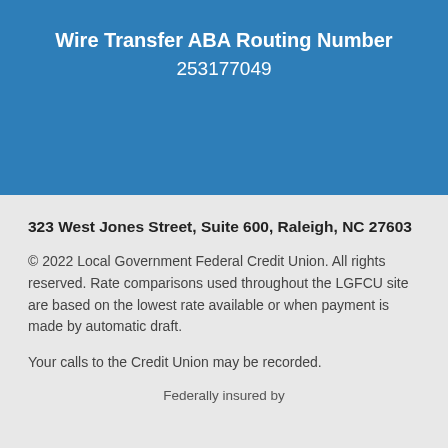Wire Transfer ABA Routing Number
253177049
323 West Jones Street, Suite 600, Raleigh, NC 27603
© 2022 Local Government Federal Credit Union. All rights reserved. Rate comparisons used throughout the LGFCU site are based on the lowest rate available or when payment is made by automatic draft.
Your calls to the Credit Union may be recorded.
Federally insured by